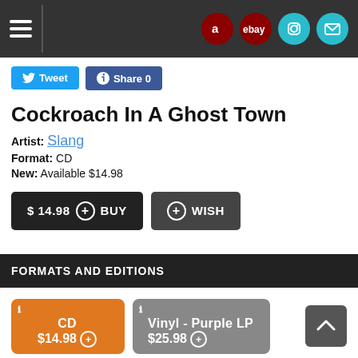Navigation header with hamburger menu and social icons (Amazon, eBay, Instagram, Mail)
Tweet
Share 0
Cockroach In A Ghost Town
Artist: Slang
Format: CD
New: Available $14.98
$ 14.98 + BUY
+ WISH
FORMATS AND EDITIONS
CD $14.98
Vinyl - Purple LP $25.98